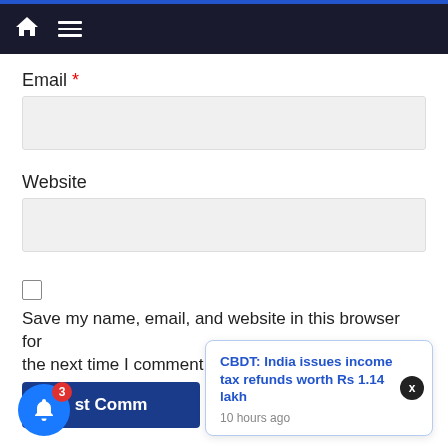Navigation bar with home icon and menu icon
Email *
Website
Save my name, email, and website in this browser for the next time I comment.
Post Comment
CBDT: India issues income tax refunds worth Rs 1.14 lakh
10 hours ago